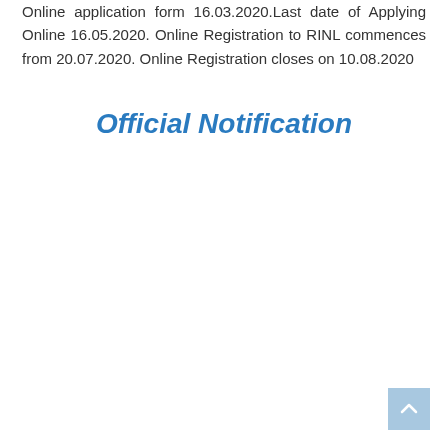Online application form 16.03.2020.Last date of Applying Online 16.05.2020. Online Registration to RINL commences from 20.07.2020. Online Registration closes on 10.08.2020
Official Notification